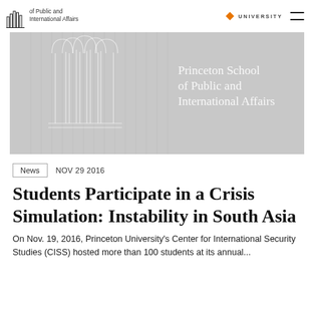Princeton School of Public and International Affairs | PRINCETON UNIVERSITY
[Figure (illustration): Gray banner image with white architectural column illustration on left and white text reading 'Princeton School of Public and International Affairs' on right]
News   NOV 29 2016
Students Participate in a Crisis Simulation: Instability in South Asia
On Nov. 19, 2016, Princeton University's Center for International Security Studies (CISS) hosted more than 100 students at its annual...